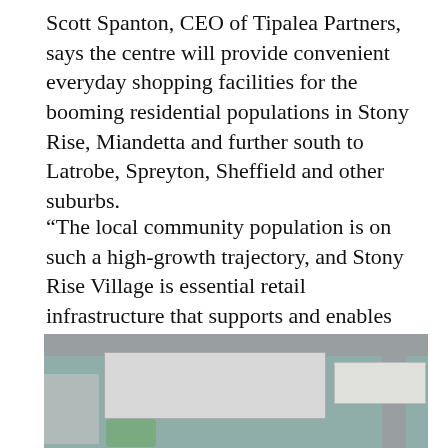Scott Spanton, CEO of Tipalea Partners, says the centre will provide convenient everyday shopping facilities for the booming residential populations in Stony Rise, Miandetta and further south to Latrobe, Spreyton, Sheffield and other suburbs.
“The local community population is on such a high-growth trajectory, and Stony Rise Village is essential retail infrastructure that supports and enables this growth – these residents shouldn’t have to battle into the CBD to do their basic everyday shopping,” said Spanton.
[Figure (photo): Aerial architectural rendering of a retail shopping centre complex, showing rooftop view of buildings, parking area, and surrounding roads. An advertisement banner overlay is visible at the bottom reading 'Increase AOV by 65%. Klarna. For Business'.]